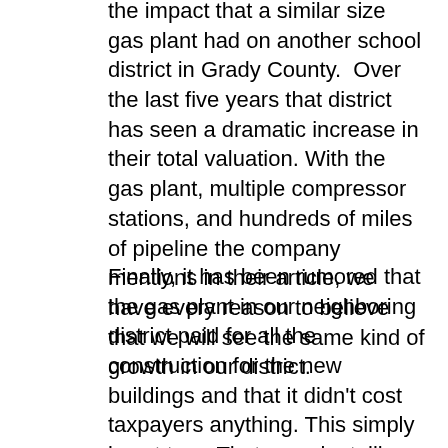the impact that a similar size gas plant had on another school district in Grady County.  Over the last five years that district has seen a dramatic increase in their total valuation. With the gas plant, multiple compressor stations, and hundreds of miles of pipeline the company mentions in their article, we have every reason to believe that we will see the same kind of growth in our district.
Finally, it has been rumored that the gas plant in our neighboring district paid for all the construction for the new buildings and that it didn't cost taxpayers anything. This simply is not true. That gas plant, like ours, pays it's share based on its valuation just like every other taxpayer in the district. Because the plant has the largest value in the district it is responsible for most of the cost.